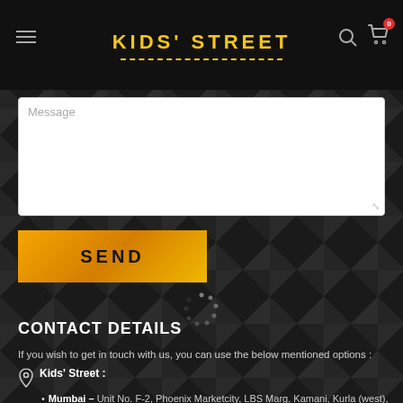KIDS' STREET
[Figure (screenshot): Message textarea input box with placeholder text 'Message' and resize handle]
SEND
CONTACT DETAILS
If you wish to get in touch with us, you can use the below mentioned options :
Kids' Street :
Mumbai – Unit No. F-2, Phoenix Marketcity, LBS Marg, Kamani, Kurla (west), Mumbai – 400070
Ahmedabad – Shop No. A-9, Manali Complex, Motera Stadium Road, Motera, Ahmedabad – 380005